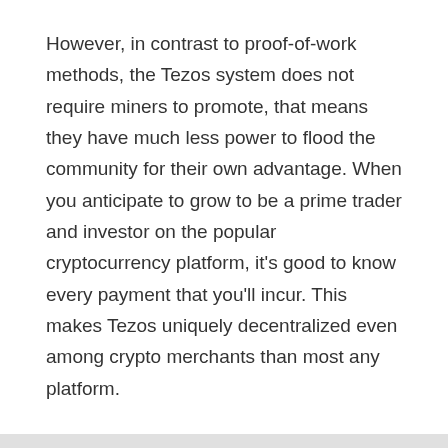However, in contrast to proof-of-work methods, the Tezos system does not require miners to promote, that means they have much less power to flood the community for their own advantage. When you anticipate to grow to be a prime trader and investor on the popular cryptocurrency platform, it's good to know every payment that you'll incur. This makes Tezos uniquely decentralized even among crypto merchants than most any platform.
Related Posts
Kink bmx Bikes for sale
How To Find an Affordable Mountain